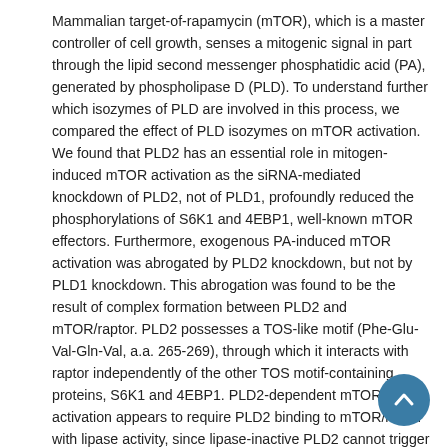Mammalian target-of-rapamycin (mTOR), which is a master controller of cell growth, senses a mitogenic signal in part through the lipid second messenger phosphatidic acid (PA), generated by phospholipase D (PLD). To understand further which isozymes of PLD are involved in this process, we compared the effect of PLD isozymes on mTOR activation. We found that PLD2 has an essential role in mitogen-induced mTOR activation as the siRNA-mediated knockdown of PLD2, not of PLD1, profoundly reduced the phosphorylations of S6K1 and 4EBP1, well-known mTOR effectors. Furthermore, exogenous PA-induced mTOR activation was abrogated by PLD2 knockdown, but not by PLD1 knockdown. This abrogation was found to be the result of complex formation between PLD2 and mTOR/raptor. PLD2 possesses a TOS-like motif (Phe-Glu-Val-Gln-Val, a.a. 265-269), through which it interacts with raptor independently of the other TOS motif-containing proteins, S6K1 and 4EBP1. PLD2-dependent mTOR activation appears to require PLD2 binding to mTOR/raptor with lipase activity, since lipase-inactive PLD2 cannot trigger mTOR activation despite its ability to interact with mTOR/raptor. Abrogation of mitogen-dependent mTOR activation by PLD2 knockdown was rescued only by wild type PLD2, but not by raptor binding-deficient and lipase-inactive PLD2. Our results demonstrate that the interaction between PLD2 and raptor and the lipase activity of PLD2 both are required for mTOR activation.